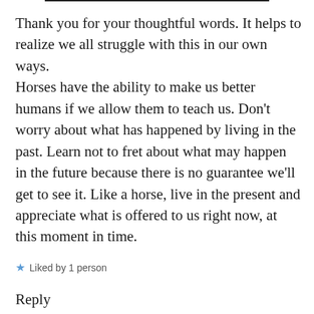Thank you for your thoughtful words. It helps to realize we all struggle with this in our own ways.
Horses have the ability to make us better humans if we allow them to teach us. Don't worry about what has happened by living in the past. Learn not to fret about what may happen in the future because there is no guarantee we'll get to see it. Like a horse, live in the present and appreciate what is offered to us right now, at this moment in time.
★ Liked by 1 person
Reply